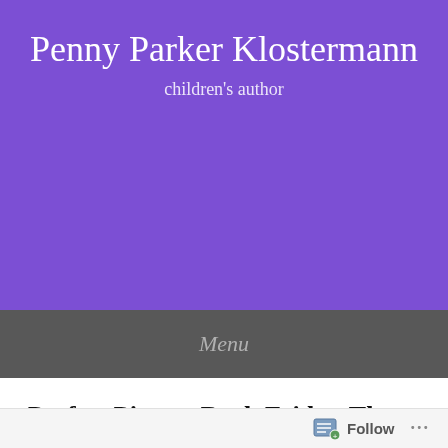Penny Parker Klostermann
children's author
Menu
Perfect Picture Book Friday-The Gingerbread Man Loose in the School
Posted on January 6, 2012
Follow ...